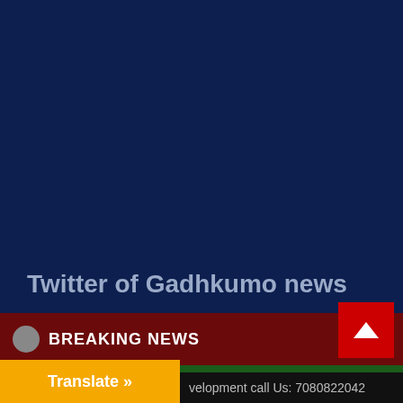Twitter of Gadhkumo news
BREAKING NEWS
[Figure (screenshot): Green ticker bar with corrupted/garbled text and a thumbnail image, on dark green background]
development call Us: 7080822042
Translate »